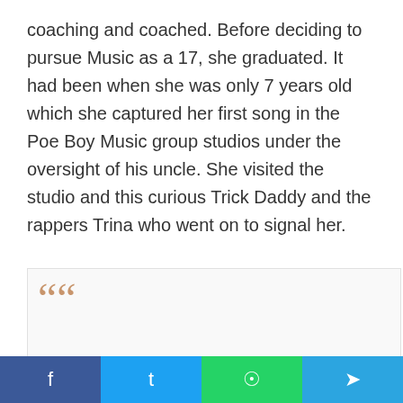coaching and coached. Before deciding to pursue Music as a 17, she graduated. It had been when she was only 7 years old which she captured her first song in the Poe Boy Music group studios under the oversight of his uncle. She visited the studio and this curious Trick Daddy and the rappers Trina who went on to signal her.
[Figure (other): Quote block with large decorative opening quotation marks in tan/brown color on a light gray background with border]
Social share buttons: Facebook, Twitter, WhatsApp, Telegram